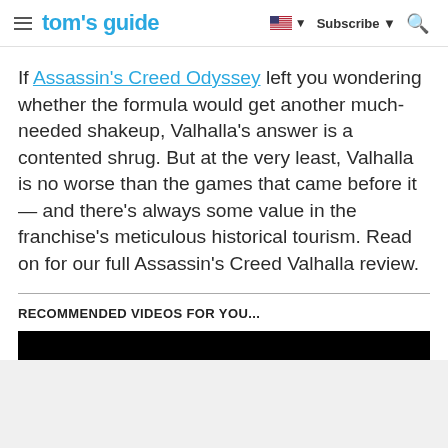tom's guide | Subscribe | Search
If Assassin's Creed Odyssey left you wondering whether the formula would get another much-needed shakeup, Valhalla's answer is a contented shrug. But at the very least, Valhalla is no worse than the games that came before it — and there's always some value in the franchise's meticulous historical tourism. Read on for our full Assassin's Creed Valhalla review.
RECOMMENDED VIDEOS FOR YOU...
[Figure (other): Black video player box with a close button overlay]